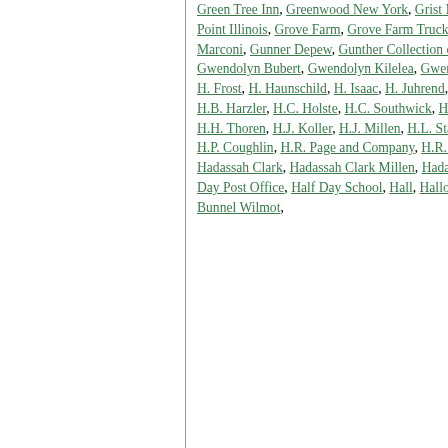Green Tree Inn, Greenwood New York, Grist Mill, Groceries, Grocery Business, Grocery Licenses, Grocery Stores, Grosse Point Illinois, Grove Farm, Grove Farm Trucks, Grove School, Gruber, Gruenfelder, Guernsey Prize Cattle, Guglielmo Marconi, Gunner Depew, Gunther Collection of Lincoln Relics, Gurnee Ford, Gurnee Illinois, Gus Klemp, Gutzler, Gwendolyn Bubert, Gwendolyn Kilelea, Gwendolyn Killealea, Gymnasiums, Gypsaphia, H. Babcock, H. Dehne, H. Feldman, H. Frost, H. Haunschild, H. Isaac, H. Juhrend, H. Plagge, H. Schmidt, H. Tatge, H. Weiman, H.A. Johnson, H.A. Olendorf, H.B. Harzler, H.C. Holste, H.C. Southwick, H.D. Kellogg, H.E. Bolle, H.F. Plagge, H.G. Cazel, H.H. McKeen, H.H. Thoran, H.H. Thoren, H.J. Koller, H.J. Millen, H.L. Stanley, H.L. Wessling, H.M. Hansen, H.M. McCullen, H.O. Stone and Company, H.P. Coughlin, H.R. Page and Company, H.R. Vant, H.R. Weaver, H.T. Birch, H.T. Bird, H.T. Wright, H.W. Blodgett, Hadassah Clark, Hadassah Clark Millen, Hadassah R. Clark Millen, Hadassoh Clark Millen, Hail, Hair, Half Day Illinois, Half Day Post Office, Half Day School, Hall, Halloween, Hambleton Horses, Hamilton Club, Hamilton College, Hanley, Hannah Bunnel Wilmot,